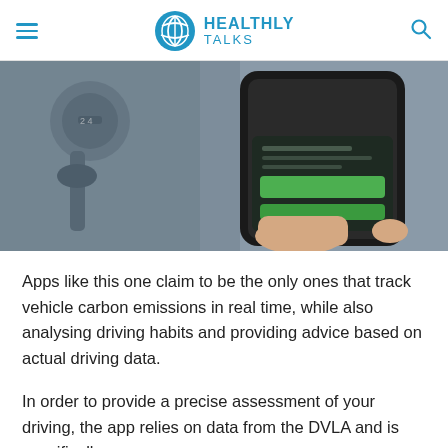HEALTHLY TALKS
[Figure (photo): A hand holding a smartphone showing an app interface with green buttons, photographed inside a car near the gear shift.]
Apps like this one claim to be the only ones that track vehicle carbon emissions in real time, while also analysing driving habits and providing advice based on actual driving data.
In order to provide a precise assessment of your driving, the app relies on data from the DVLA and is specifically